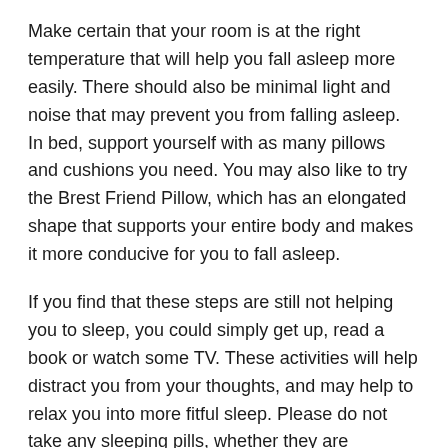Make certain that your room is at the right temperature that will help you fall asleep more easily. There should also be minimal light and noise that may prevent you from falling asleep. In bed, support yourself with as many pillows and cushions you need. You may also like to try the Brest Friend Pillow, which has an elongated shape that supports your entire body and makes it more conducive for you to fall asleep.
If you find that these steps are still not helping you to sleep, you could simply get up, read a book or watch some TV. These activities will help distract you from your thoughts, and may help to relax you into more fitful sleep. Please do not take any sleeping pills, whether they are prescription, herbal or over the counter. These may be dangerous for your baby's health.